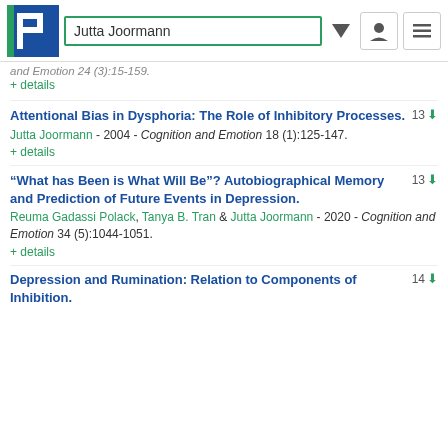Jutta Joormann
and Emotion 24 (3):15-159.
+ details
Attentional Bias in Dysphoria: The Role of Inhibitory Processes.
Jutta Joormann - 2004 - Cognition and Emotion 18 (1):125-147.
+ details
“What has Been is What Will Be”? Autobiographical Memory and Prediction of Future Events in Depression.
Reuma Gadassi Polack, Tanya B. Tran & Jutta Joormann - 2020 - Cognition and Emotion 34 (5):1044-1051.
+ details
Depression and Rumination: Relation to Components of Inhibition.